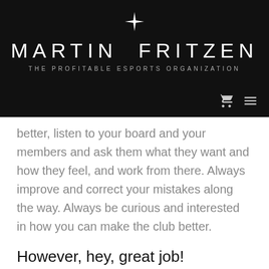MARTIN FRITZEN
THE PROFITABLE ESPORTS ORGANIZATION
better, listen to your board and your members and ask them what they want and how they feel, and work from there. Always improve and correct your mistakes along the way. Always be curious and interested in how you can make the club better.
However, hey, great job!